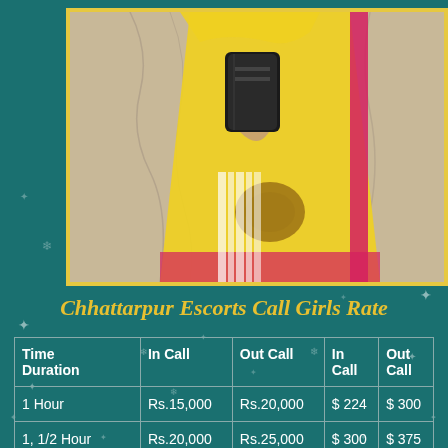[Figure (photo): A person wearing a yellow sari/dupatta holding a black clutch purse, partially visible torso and hand]
Chhattarpur Escorts Call Girls Rate
| Time Duration | In Call | Out Call | In Call | Out Call |
| --- | --- | --- | --- | --- |
| 1 Hour | Rs.15,000 | Rs.20,000 | $ 224 | $ 300 |
| 1, 1/2 Hour | Rs.20,000 | Rs.25,000 | $ 300 | $ 375 |